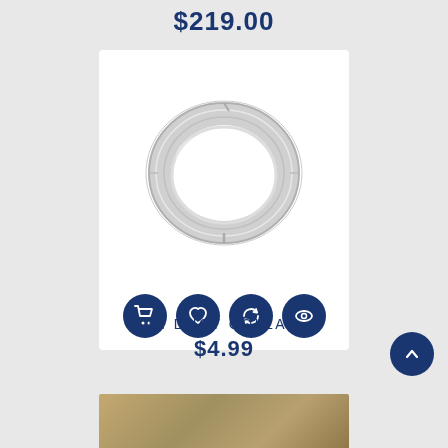$219.00
[Figure (photo): Product image of a metallic in-duct collar ring (silver/chrome circular duct fitting) displayed on white background with four action icon buttons below: shopping cart, heart/wishlist, refresh/compare, and eye/view.]
IN DUCT COLLAR
$4.99
[Figure (photo): Partial product image visible at the bottom of the page showing a brown/tan surface.]